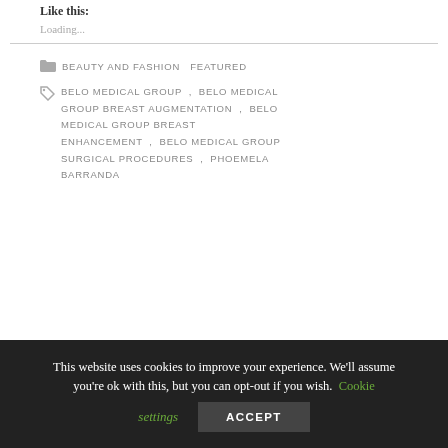Like this:
Loading...
BEAUTY AND FASHION   FEATURED
BELO MEDICAL GROUP , BELO MEDICAL GROUP BREAST AUGMENTATION , BELO MEDICAL GROUP BREAST ENHANCEMENT , BELO MEDICAL GROUP SURGICAL PROCEDURES , PHOEMELA BARRANDA
This website uses cookies to improve your experience. We'll assume you're ok with this, but you can opt-out if you wish. Cookie settings ACCEPT